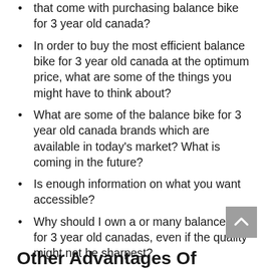that come with purchasing balance bike for 3 year old canada?
In order to buy the most efficient balance bike for 3 year old canada at the optimum price, what are some of the things you might have to think about?
What are some of the balance bike for 3 year old canada brands which are available in today’s market? What is coming in the future?
Is enough information on what you want accessible?
Why should I own a or many balance bike for 3 year old canadas, even if the quality might not be sharpest?
Other Advantages Of